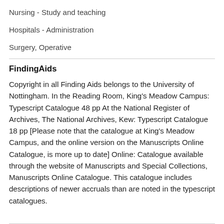Nursing - Study and teaching
Hospitals - Administration
Surgery, Operative
FindingAids
Copyright in all Finding Aids belongs to the University of Nottingham. In the Reading Room, King's Meadow Campus: Typescript Catalogue 48 pp At the National Register of Archives, The National Archives, Kew: Typescript Catalogue 18 pp [Please note that the catalogue at King's Meadow Campus, and the online version on the Manuscripts Online Catalogue, is more up to date] Online: Catalogue available through the website of Manuscripts and Special Collections, Manuscripts Online Catalogue. This catalogue includes descriptions of newer accruals than are noted in the typescript catalogues.